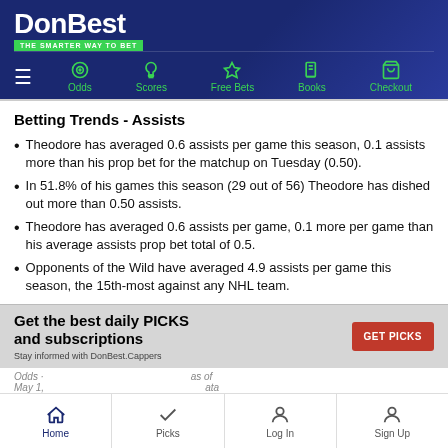DonBest - THE SMARTER WAY TO BET
Betting Trends - Assists
Theodore has averaged 0.6 assists per game this season, 0.1 assists more than his prop bet for the matchup on Tuesday (0.50).
In 51.8% of his games this season (29 out of 56) Theodore has dished out more than 0.50 assists.
Theodore has averaged 0.6 assists per game, 0.1 more per game than his average assists prop bet total of 0.5.
Opponents of the Wild have averaged 4.9 assists per game this season, the 15th-most against any NHL team.
Get the best daily PICKS and subscriptions - Stay informed with DonBest.Cappers
Odds · ... as of May 1, ... ata
Home | Picks | Log In | Sign Up